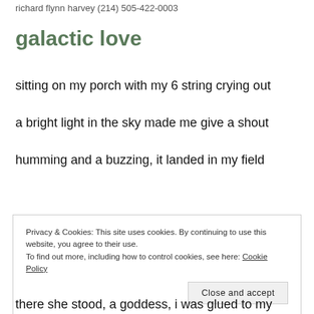richard flynn harvey (214) 505-422-0003
galactic love
sitting on my porch with my 6 string crying out
a bright light in the sky made me give a shout
humming and a buzzing, it landed in my field
Privacy & Cookies: This site uses cookies. By continuing to use this website, you agree to their use.
To find out more, including how to control cookies, see here: Cookie Policy
[Close and accept]
there she stood, a goddess, i was glued to my seat